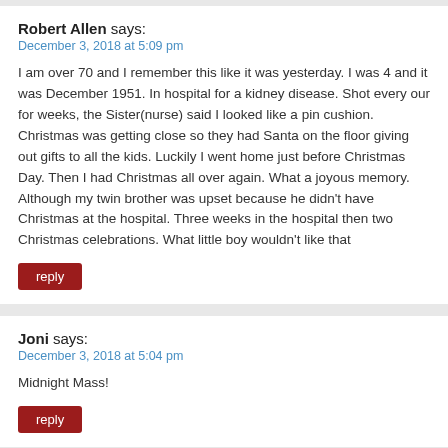Robert Allen says:
December 3, 2018 at 5:09 pm
I am over 70 and I remember this like it was yesterday. I was 4 and it was December 1951. In hospital for a kidney disease. Shot every our for weeks, the Sister(nurse) said I looked like a pin cushion. Christmas was getting close so they had Santa on the floor giving out gifts to all the kids. Luckily I went home just before Christmas Day. Then I had Christmas all over again. What a joyous memory. Although my twin brother was upset because he didn't have Christmas at the hospital. Three weeks in the hospital then two Christmas celebrations. What little boy wouldn't like that
reply
Joni says:
December 3, 2018 at 5:04 pm
Midnight Mass!
reply
Pam Gurganus says: